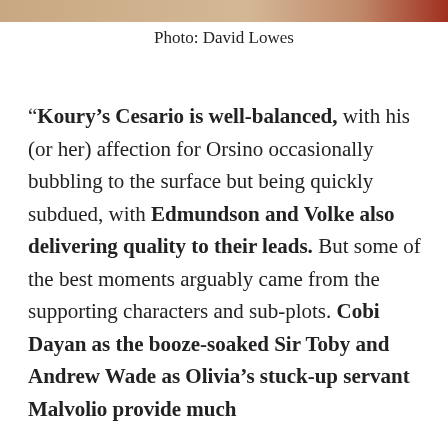[Figure (photo): Partial photo at top of page showing warm tones, cropped]
Photo: David Lowes
“Koury’s Cesario is well-balanced, with his (or her) affection for Orsino occasionally bubbling to the surface but being quickly subdued, with Edmundson and Volke also delivering quality to their leads. But some of the best moments arguably came from the supporting characters and sub-plots. Cobi Dayan as the booze-soaked Sir Toby and Andrew Wade as Olivia’s stuck-up servant Malvolio provide much